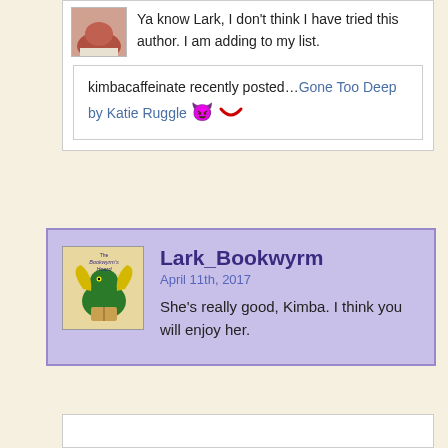Ya know Lark, I don't think I have tried this author. I am adding to my list.
kimbacaffeinate recently posted…Gone Too Deep by Katie Ruggle 🔴
Lark_Bookwyrm
April 11th, 2017
She's really good, Kimba. I think you will enjoy her.